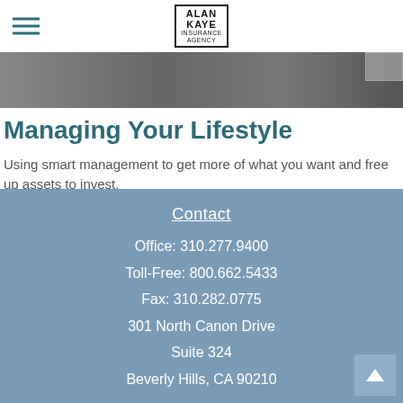Alan Kaye Insurance Agency
[Figure (photo): Hero image strip showing a dark/moody lifestyle photo background]
Managing Your Lifestyle
Using smart management to get more of what you want and free up assets to invest.
Contact
Office: 310.277.9400
Toll-Free: 800.662.5433
Fax: 310.282.0775
301 North Canon Drive
Suite 324
Beverly Hills, CA 90210